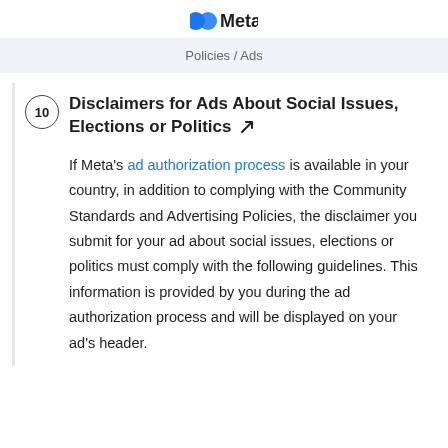Meta — Policies / Ads
10 Disclaimers for Ads About Social Issues, Elections or Politics ↗
If Meta's ad authorization process is available in your country, in addition to complying with the Community Standards and Advertising Policies, the disclaimer you submit for your ad about social issues, elections or politics must comply with the following guidelines. This information is provided by you during the ad authorization process and will be displayed on your ad's header.